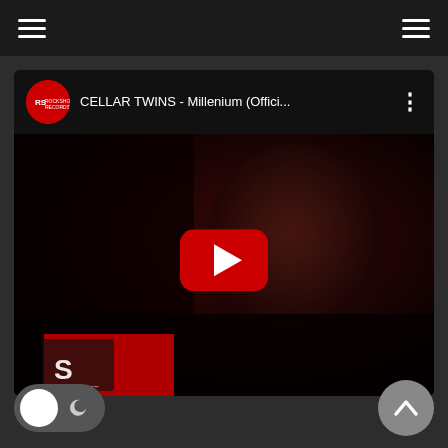[Figure (screenshot): Dark-themed webpage screenshot showing a YouTube video embed. Top bar with two hamburger menu icons on left and right. Video card showing 'CELLAR TWINS - Millenium (Offici...' with a red channel logo, video thumbnail of a woman in dark lighting with YouTube play button overlay. Bottom has a light/dark mode toggle and scroll-to-top button.]